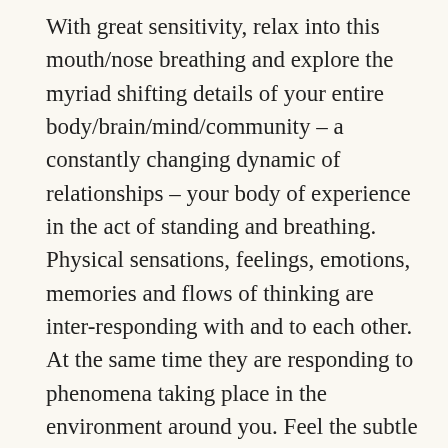With great sensitivity, relax into this mouth/nose breathing and explore the myriad shifting details of your entire body/brain/mind/community – a constantly changing dynamic of relationships – your body of experience in the act of standing and breathing. Physical sensations, feelings, emotions, memories and flows of thinking are inter-responding with and to each other. At the same time they are responding to phenomena taking place in the environment around you. Feel the subtle ripples of muscular adjustment that facilitate your ability to stand vertically, on the surface of a spherical planet, which is turning on its axis while whirling around a star. If you notice any physical or mental tensions or holdings, invite them to soften and relax. Smiling – Breathing – Present – feel your way into this exploration.